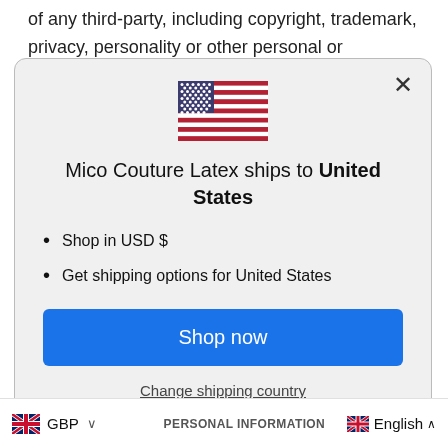of any third-party, including copyright, trademark, privacy, personality or other personal or proprietary
[Figure (screenshot): Modal dialog showing US flag and shipping information for Mico Couture Latex to United States, with Shop now button and Change shipping country link]
Mico Couture Latex ships to United States
Shop in USD $
Get shipping options for United States
Shop now
Change shipping country
GBP
PERSONAL INFORMATION
English